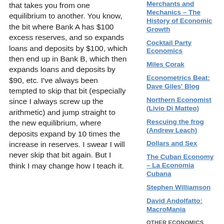that takes you from one equilibrium to another. You know, the bit where Bank A has $100 excess reserves, and so expands loans and deposits by $100, which then end up in Bank B, which then expands loans and deposits by $90, etc. I've always been tempted to skip that bit (especially since I always screw up the arithmetic) and jump straight to the new equilibrium, where deposits expand by 10 times the increase in reserves. I swear I will never skip that bit again. But I think I may change how I teach it.
Merchants and Mechanics – The History of Economic Growth
Cocktail Party Economics
Miles Corak
Econometrics Beat: Dave Giles' Blog
Northern Economist (Livio Di Matteo)
Rescuing the frog (Andrew Leach)
Dollars and Sex
The Cuban Economy – La Economia Cubana
Stephen Williamson
David Andolfatto: MacroMania
OTHER ECONOMICS BLOGS WE FOLLOW
Paul Krugman
TheMoneyIllusion
Stumbling and Mumbling
Marginal Revolution
macroblog